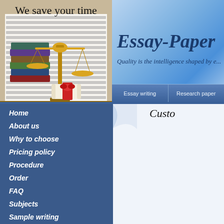[Figure (illustration): Hero image with golden balance scales, stacked books, and a diploma scroll with red ribbon, text 'We save your time' at top, on parchment-like background with text]
[Figure (logo): Essay-Paper brand logo in cursive italic dark blue text on blue gradient sky background with tagline 'Quality is the intelligence shaped by e...']
Essay writing
Research paper
Home
About us
Why to choose
Pricing policy
Procedure
Order
FAQ
Subjects
Sample writing
Custo
100% custom essay pa
As a custom writing se... any work ordered via ... thoroughly researched a... our main purpose.
Essays free of plagiari...
Our service does not pr... concerns and every es... guarantees its originality... to receive the work.